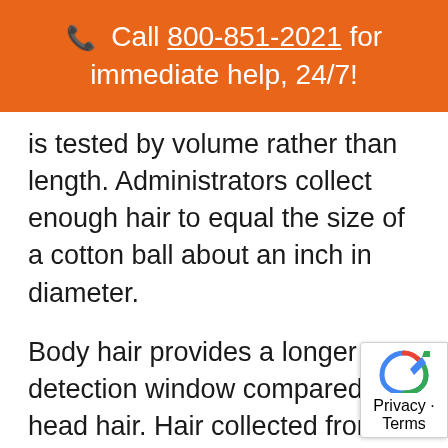📞  Call 800-851-2021 for immediate help, 24/7!
is tested by volume rather than length. Administrators collect enough hair to equal the size of a cotton ball about an inch in diameter.
Body hair provides a longer detection window compared to head hair. Hair collected from an employee's head detect drug use for about 90-days,